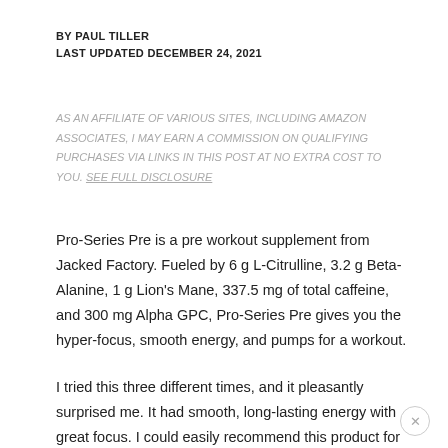BY PAUL TILLER
LAST UPDATED DECEMBER 24, 2021
AS AN AFFILIATE OF VARIOUS SITES, INCLUDING AMAZON ASSOCIATES, I MAY EARN A COMMISSION ON QUALIFYING PURCHASES VIA LINKS IN THIS POST AT NO EXTRA COST TO YOU. SEE FULL DISCLOSURE
Pro-Series Pre is a pre workout supplement from Jacked Factory. Fueled by 6 g L-Citrulline, 3.2 g Beta-Alanine, 1 g Lion's Mane, 337.5 mg of total caffeine, and 300 mg Alpha GPC, Pro-Series Pre gives you the hyper-focus, smooth energy, and pumps for a workout.
I tried this three different times, and it pleasantly surprised me. It had smooth, long-lasting energy with great focus. I could easily recommend this product for beginners (who can take 337.5 mg of caffeine) without any illicit stims and want a complete package.